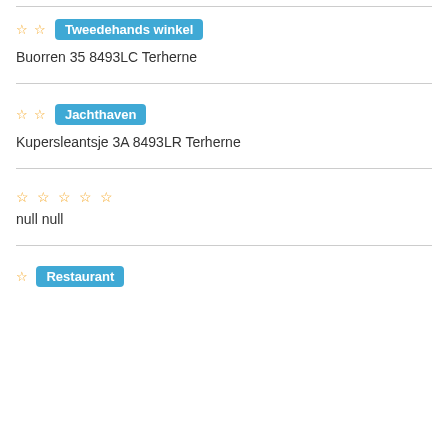☆☆ Tweedehands winkel
Buorren 35 8493LC Terherne
☆☆ Jachthaven
Kupersleantsje 3A 8493LR Terherne
☆☆☆☆☆ null null
☆ Restaurant